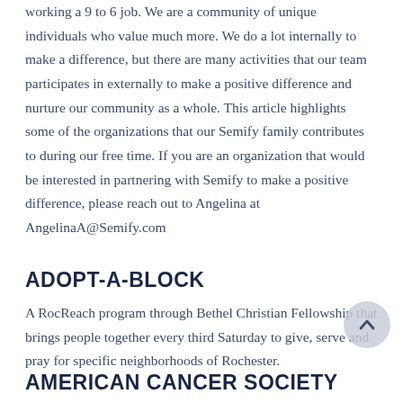working a 9 to 6 job. We are a community of unique individuals who value much more. We do a lot internally to make a difference, but there are many activities that our team participates in externally to make a positive difference and nurture our community as a whole. This article highlights some of the organizations that our Semify family contributes to during our free time. If you are an organization that would be interested in partnering with Semify to make a positive difference, please reach out to Angelina at AngelinaA@Semify.com
ADOPT-A-BLOCK
A RocReach program through Bethel Christian Fellowship that brings people together every third Saturday to give, serve and pray for specific neighborhoods of Rochester.
AMERICAN CANCER SOCIETY